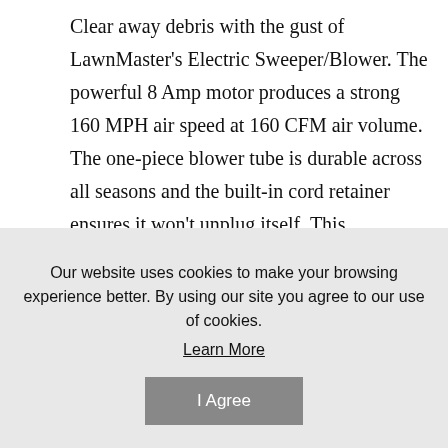Clear away debris with the gust of LawnMaster's Electric Sweeper/Blower. The powerful 8 Amp motor produces a strong 160 MPH air speed at 160 CFM air volume. The one-piece blower tube is durable across all seasons and the built-in cord retainer ensures it won't unplug itself. This lightweight tool provides a green, clean and efficient alternative to gas-powered sweepers and is perfect for any yard.
Product Type: Leaf Blower
Our website uses cookies to make your browsing experience better. By using our site you agree to our use of cookies.
Learn More
I Agree